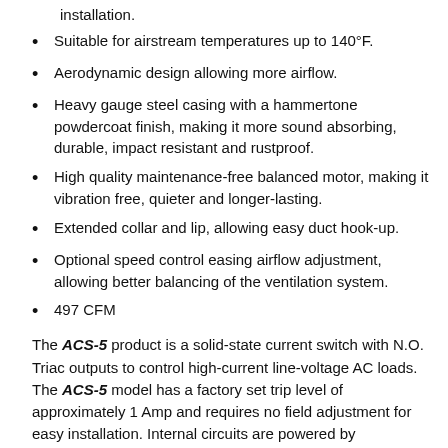installation.
Suitable for airstream temperatures up to 140°F.
Aerodynamic design allowing more airflow.
Heavy gauge steel casing with a hammertone powdercoat finish, making it more sound absorbing, durable, impact resistant and rustproof.
High quality maintenance-free balanced motor, making it vibration free, quieter and longer-lasting.
Extended collar and lip, allowing easy duct hook-up.
Optional speed control easing airflow adjustment, allowing better balancing of the ventilation system.
497 CFM
The ACS-5 product is a solid-state current switch with N.O. Triac outputs to control high-current line-voltage AC loads. The ACS-5 model has a factory set trip level of approximately 1 Amp and requires no field adjustment for easy installation. Internal circuits are powered by